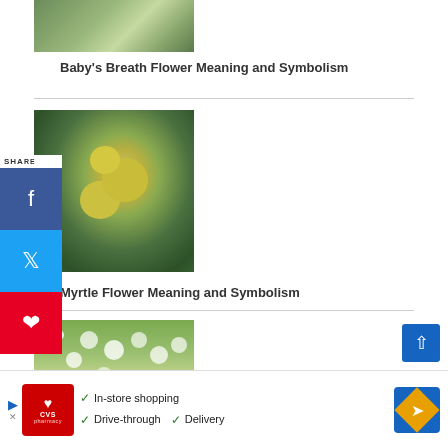[Figure (photo): Photo of Baby's Breath flower, white small flowers on green background]
Baby's Breath Flower Meaning and Symbolism
[Figure (photo): Photo of Myrtle plant with yellow-green round fruits/berries among dark green leaves]
Myrtle Flower Meaning and Symbolism
[Figure (photo): Photo of field with white dandelion-like flowers on green background]
[Figure (infographic): CVS Pharmacy advertisement banner: In-store shopping, Drive-through, Delivery]